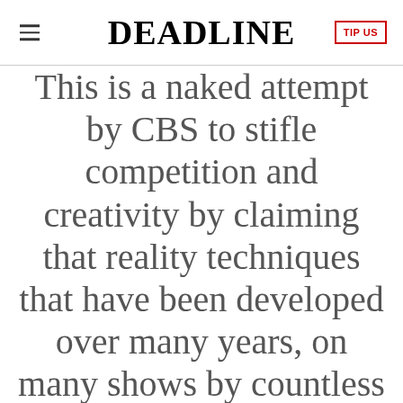DEADLINE
This is a naked attempt by CBS to stifle competition and creativity by claiming that reality techniques that have been developed over many years, on many shows by countless